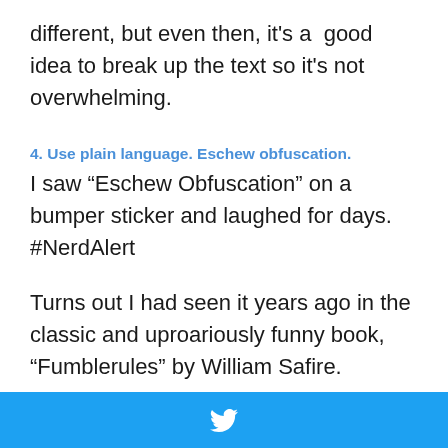different, but even then, it's a good idea to break up the text so it's not overwhelming.
4. Use plain language. Eschew obfuscation.
I saw “Eschew Obfuscation” on a bumper sticker and laughed for days. #NerdAlert
Turns out I had seen it years ago in the classic and uproariously funny book, “Fumblerules” by William Safire.
There is rarely a time when inflated
[Figure (logo): Twitter share button bar with white bird icon on blue background]